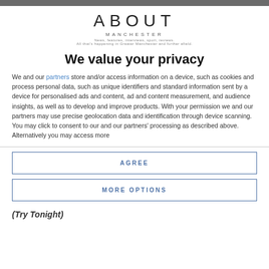[Figure (logo): About Manchester logo with tagline: News, features, interviews, sport, reviews. All that's happening in Greater Manchester and further afield.]
We value your privacy
We and our partners store and/or access information on a device, such as cookies and process personal data, such as unique identifiers and standard information sent by a device for personalised ads and content, ad and content measurement, and audience insights, as well as to develop and improve products. With your permission we and our partners may use precise geolocation data and identification through device scanning. You may click to consent to our and our partners' processing as described above. Alternatively you may access more
AGREE
MORE OPTIONS
(Try Tonight)